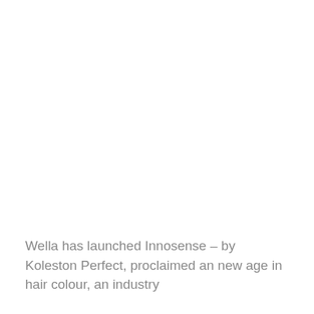Wella has launched Innosense – by Koleston Perfect, proclaimed an new age in hair colour, an industry